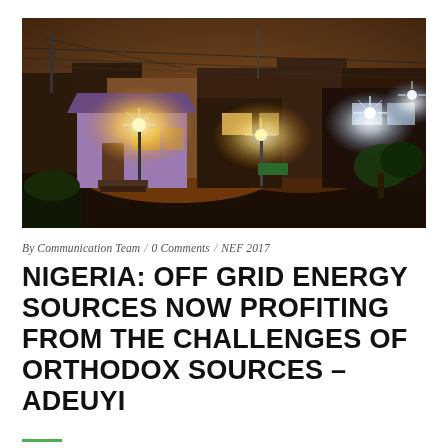[Figure (photo): Night photograph of a Nigerian residential street scene showing illuminated houses with warm orange street lights against a dusky sky, with power lines visible overhead.]
By Communication Team  /  0 Comments  /  NEF 2017
NIGERIA: OFF GRID ENERGY SOURCES NOW PROFITING FROM THE CHALLENGES OF ORTHODOX SOURCES – ADEUYI